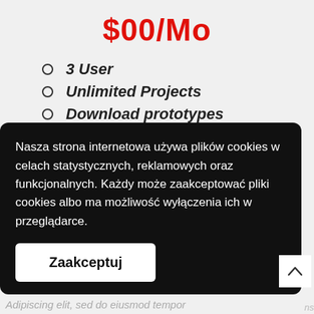$00/Mo
3 User
Unlimited Projects
Download prototypes
Get Now
Nasza strona internetowa używa plików cookies w celach statystycznych, reklamowych oraz funkcjonalnych. Każdy może zaakceptować pliki cookies albo ma możliwość wyłączenia ich w przeglądarce.
Zaakceptuj
Adipiscing elit, sed do eiusmod tempor